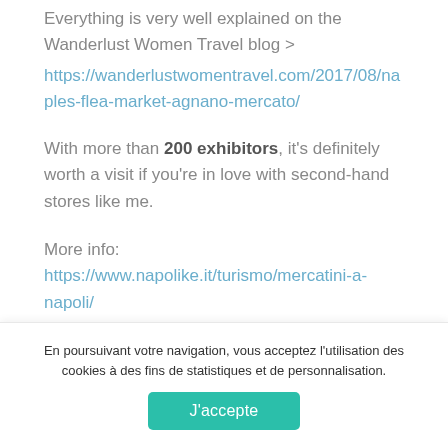Everything is very well explained on the Wanderlust Women Travel blog >
https://wanderlustwomentravel.com/2017/08/naples-flea-market-agnano-mercato/
With more than 200 exhibitors, it's definitely worth a visit if you're in love with second-hand stores like me.
More info: https://www.napolike.it/turismo/mercatini-a-napoli/
En poursuivant votre navigation, vous acceptez l'utilisation des cookies à des fins de statistiques et de personnalisation.
J'accepte